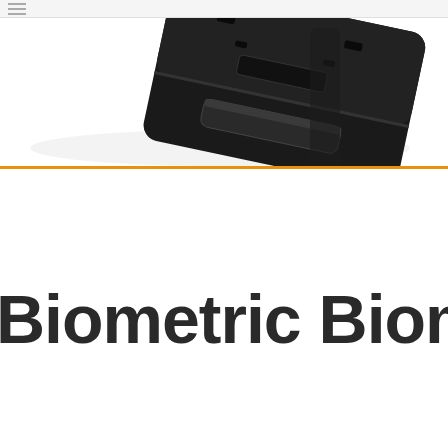[Figure (photo): A black rectangular biometric device photographed at an angle against a white background, showing the top surface with small rectangular slots and a sliding mechanism]
Biometric Biomet